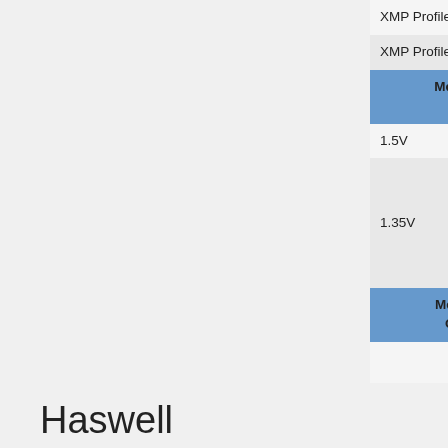| Feature | Col1 | Col2 | Col3 |
| --- | --- | --- | --- |
| XMP Profile 1 | yes | yes | yes |
| XMP Profile 2 | yes | yes | no |
| Menu: Voltage Support |  |  |  |
| 1.5V | yes | yes | yes |
| 1.35V | depends on board | no | no |
| Menu: Manual Overwrites |  |  |  |
| devicetree: cfg_max_mem_clk | yes | yes | yes - limits maxim DDR frequ... |
| Menu: Overclocking |  |  |  |
| not implemented | no | no | no |
Haswell